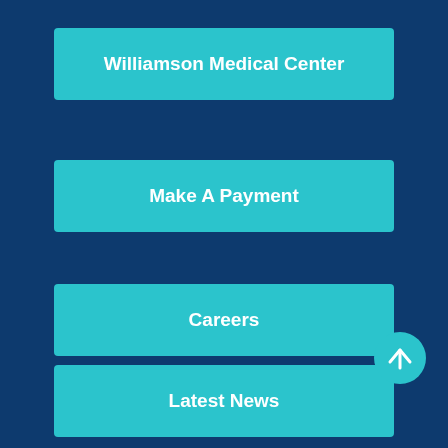Williamson Medical Center
Make A Payment
Careers
Latest News